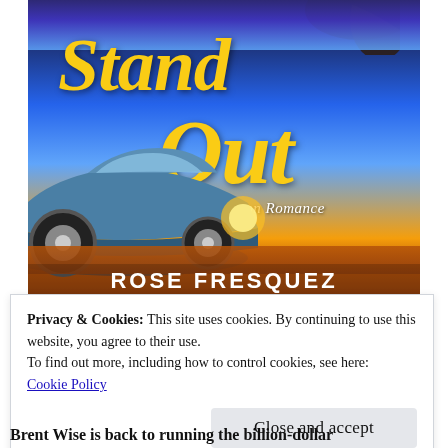[Figure (illustration): Book cover for 'Stand Out: An Eron Romance' by Rose Fresquez. Features a sports car on a beach at sunset, with a woman's hair visible at top right, ocean waves in the background. Title text in large yellow italic script. Author name in bold white capital letters at bottom of cover.]
Privacy & Cookies: This site uses cookies. By continuing to use this website, you agree to their use.
To find out more, including how to control cookies, see here:
Cookie Policy
Close and accept
Brent Wise is back to running the billion-dollar